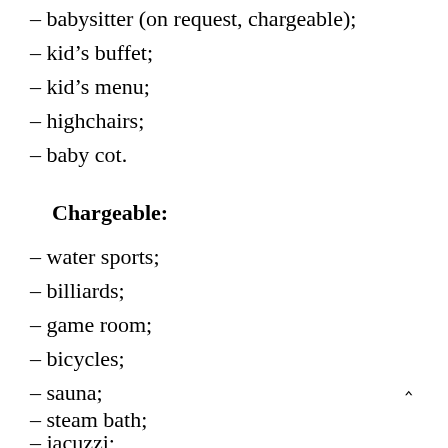– babysitter (on request, chargeable);
– kid's buffet;
– kid's menu;
– highchairs;
– baby cot.
Chargeable:
– water sports;
– billiards;
– game room;
– bicycles;
– sauna;
– steam bath;
– jacuzzi;